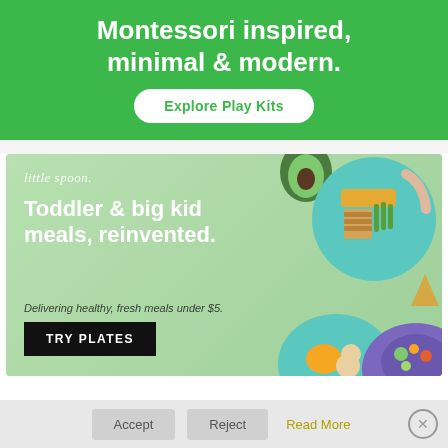[Figure (infographic): Green banner with bold white text 'Montessori inspired, minimal & modern.' and a white rounded button labeled 'Explore Play Kits']
[Figure (infographic): Little Spoon advertisement on light green background. Shows food plates, avocado. Text: 'little spoon.', 'Toddler & big kid meals, reinvented.', 'Delivering healthy, fresh meals under $5.', 'TRY PLATES' button in black.]
This website uses cookies to improve your experience. We'll assume you're ok with this, but you can opt-out if you wish.
Accept   Reject   Read More   ×